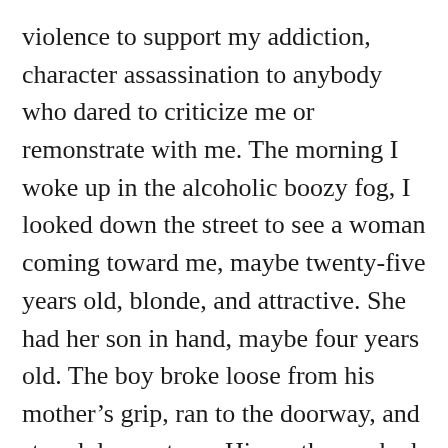violence to support my addiction, character assassination to anybody who dared to criticize me or remonstrate with me. The morning I woke up in the alcoholic boozy fog, I looked down the street to see a woman coming toward me, maybe twenty-five years old, blonde, and attractive. She had her son in hand, maybe four years old. The boy broke loose from his mother’s grip, ran to the doorway, and stared down at me. His mother rushed in behind him, tucked her hand over his eyes, and said, ‘Don’t look at that filth. That’s nothing but